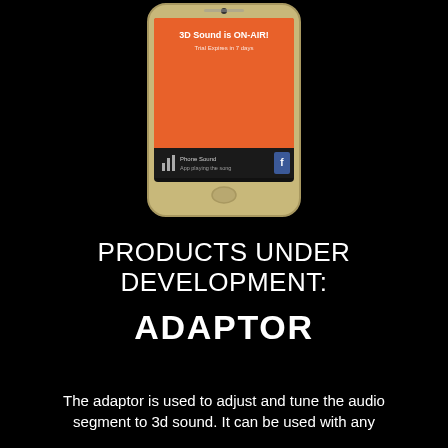[Figure (screenshot): Screenshot of a smartphone (Samsung Galaxy style) displaying an app with an orange screen showing '3D Sound is ON-AIR!' text, with 'Phone Sound' and 'App playing the song' labels, and a Facebook icon button.]
PRODUCTS UNDER DEVELOPMENT:
ADAPTOR
The adaptor is used to adjust and tune the audio segment to 3d sound. It can be used with any